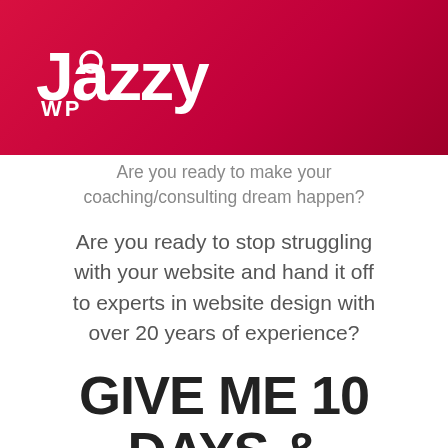[Figure (logo): JazzyWP logo: white text 'Jazzy' in large bold font with stylized 'a' circle, and 'WP' below in smaller text, on a red/crimson gradient background banner]
Are you ready to make your coaching/consulting dream happen?
Are you ready to stop struggling with your website and hand it off to experts in website design with over 20 years of experience?
GIVE ME 10 DAYS & YOU'LL GET A